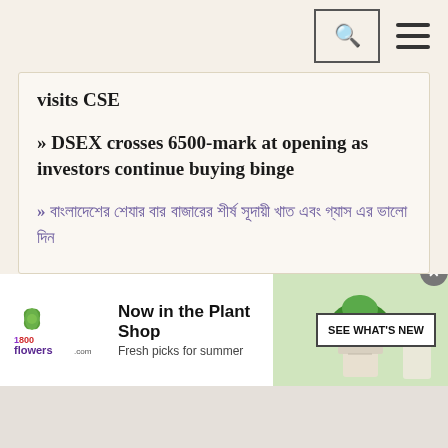Navigation bar with search and menu icons
visits CSE
» DSEX crosses 6500-mark at opening as investors continue buying binge
» [Bengali text - stock market related news item]
[Figure (screenshot): 1-800-flowers.com advertisement banner: 'Now in the Plant Shop - Fresh picks for summer' with plant image and 'SEE WHAT'S NEW' button]